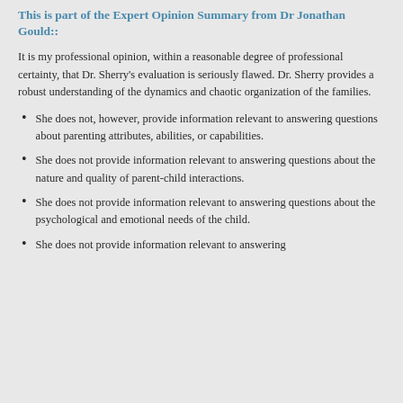This is part of the Expert Opinion Summary from Dr Jonathan Gould::
It is my professional opinion, within a reasonable degree of professional certainty, that Dr. Sherry's evaluation is seriously flawed. Dr. Sherry provides a robust understanding of the dynamics and chaotic organization of the families.
She does not, however, provide information relevant to answering questions about parenting attributes, abilities, or capabilities.
She does not provide information relevant to answering questions about the nature and quality of parent-child interactions.
She does not provide information relevant to answering questions about the psychological and emotional needs of the child.
She does not provide information relevant to answering